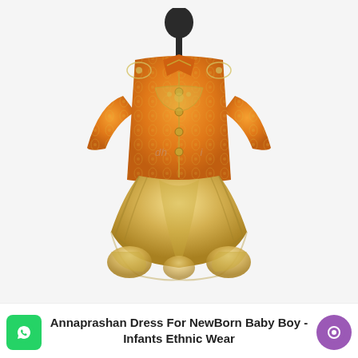[Figure (photo): A traditional Indian ethnic outfit set displayed on a black mannequin stand with no head. The outfit consists of an orange brocade kurta jacket with gold floral embroidery and gota patti work, featuring mandarin collar and button closure, paired with shiny golden/champagne dhoti pants. The background is plain white/light grey.]
Annaprashan Dress For NewBorn Baby Boy - Infants Ethnic Wear